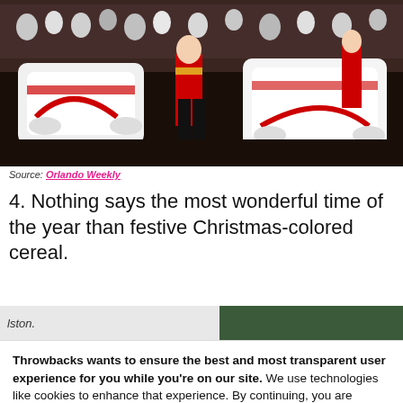[Figure (photo): Christmas parade scene with performers in red and white costumes, a large float, and a crowd of spectators in the background.]
Source: Orlando Weekly
4. Nothing says the most wonderful time of the year than festive Christmas-colored cereal.
[Figure (photo): Partial view of two images cropped: left side shows italic text 'lston.' with a partial image, right side shows a partial image with green background.]
Throwbacks wants to ensure the best and most transparent user experience for you while you're on our site. We use technologies like cookies to enhance that experience. By continuing, you are agreeing to the use of these technologies. You can read our Privacy Policy to learn more about how your info is used.
I AGREE, LET'S GO!